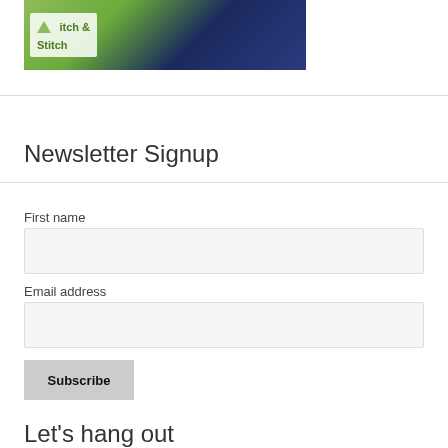[Figure (photo): Partial image showing a logo with text 'Stitch' on a green and dark blue background, showing a person in dark clothing]
Newsletter Signup
First name
Email address
Subscribe
Let's hang out